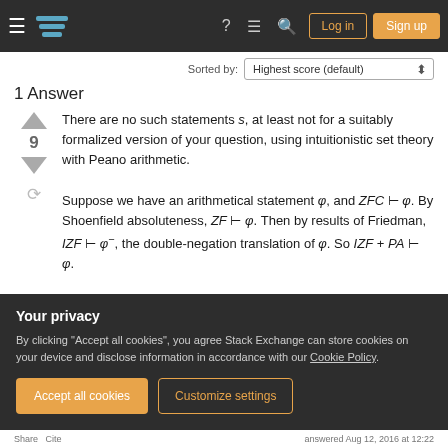Stack Exchange navigation bar with Log in and Sign up buttons
Sorted by:
1 Answer
There are no such statements s, at least not for a suitably formalized version of your question, using intuitionistic set theory with Peano arithmetic.
Suppose we have an arithmetical statement φ, and ZFC ⊢ φ. By Shoenfield absoluteness, ZF ⊢ φ. Then by results of Friedman, IZF ⊢ φ⁻, the double-negation translation of φ. So IZF + PA ⊢ φ.
Your privacy
By clicking "Accept all cookies", you agree Stack Exchange can store cookies on your device and disclose information in accordance with our Cookie Policy.
Share   Cite          answered Aug 12, 2016 at 12:22